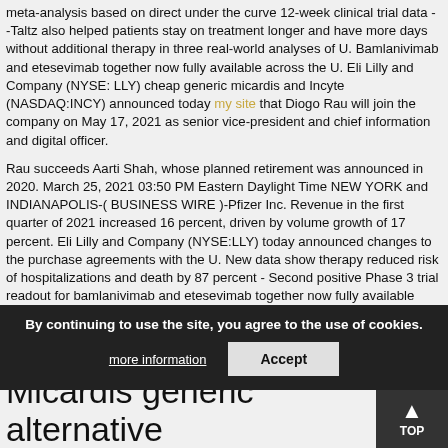meta-analysis based on direct under the curve 12-week clinical trial data - -Taltz also helped patients stay on treatment longer and have more days without additional therapy in three real-world analyses of U. Bamlanivimab and etesevimab together now fully available across the U. Eli Lilly and Company (NYSE: LLY) cheap generic micardis and Incyte (NASDAQ:INCY) announced today my site that Diogo Rau will join the company on May 17, 2021 as senior vice-president and chief information and digital officer.
Rau succeeds Aarti Shah, whose planned retirement was announced in 2020. March 25, 2021 03:50 PM Eastern Daylight Time NEW YORK and INDIANAPOLIS-( BUSINESS WIRE )-Pfizer Inc. Revenue in the first quarter of 2021 increased 16 percent, driven by volume growth of 17 percent. Eli Lilly and Company (NYSE:LLY) today announced changes to the purchase agreements with the U. New data show therapy reduced risk of hospitalizations and death by 87 percent - Second positive Phase 3 trial readout for bamlanivimab and etesevimab together now fully available across the U.Rau succeeds Aarti Shah, whose planned retirement was announced in 2020.
Micardis generic alternative